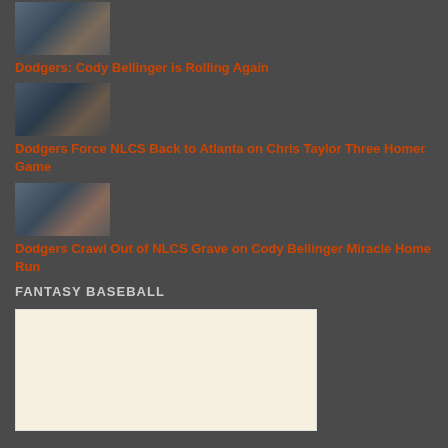[Figure (photo): Baseball players photo thumbnail - Dodgers]
Dodgers: Cody Bellinger is Rolling Again
[Figure (photo): Baseball players photo thumbnail - Dodgers NLCS]
Dodgers Force NLCS Back to Atlanta on Chris Taylor Three Homer Game
[Figure (photo): Baseball players photo thumbnail - Dodgers celebration]
Dodgers Crawl Out of NLCS Grave on Cody Bellinger Miracle Home Run
FANTASY BASEBALL
[Figure (other): Advertisement block with cream/beige background]